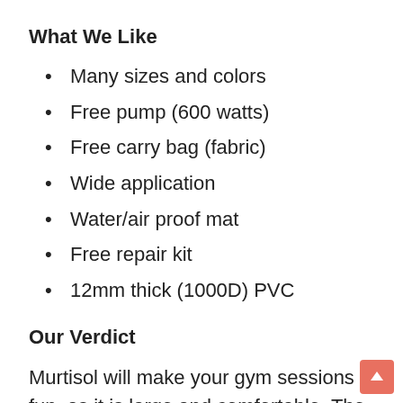What We Like
Many sizes and colors
Free pump (600 watts)
Free carry bag (fabric)
Wide application
Water/air proof mat
Free repair kit
12mm thick (1000D) PVC
Our Verdict
Murtisol will make your gym sessions fun, as it is large and comfortable. The seams are air/waterproof, while a free pump in the pack